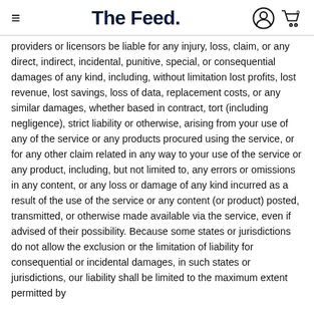The Feed.
providers or licensors be liable for any injury, loss, claim, or any direct, indirect, incidental, punitive, special, or consequential damages of any kind, including, without limitation lost profits, lost revenue, lost savings, loss of data, replacement costs, or any similar damages, whether based in contract, tort (including negligence), strict liability or otherwise, arising from your use of any of the service or any products procured using the service, or for any other claim related in any way to your use of the service or any product, including, but not limited to, any errors or omissions in any content, or any loss or damage of any kind incurred as a result of the use of the service or any content (or product) posted, transmitted, or otherwise made available via the service, even if advised of their possibility. Because some states or jurisdictions do not allow the exclusion or the limitation of liability for consequential or incidental damages, in such states or jurisdictions, our liability shall be limited to the maximum extent permitted by